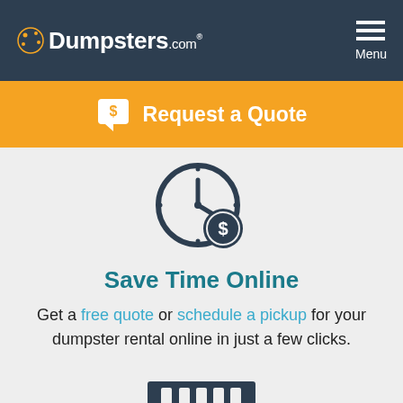Dumpsters.com | Menu
Request a Quote
[Figure (illustration): Clock with a dollar sign coin icon, representing online savings and time]
Save Time Online
Get a free quote or schedule a pickup for your dumpster rental online in just a few clicks.
[Figure (illustration): Dumpster truck icon at the bottom of the page]